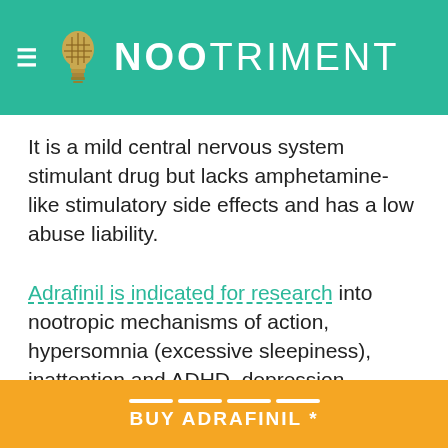NOOTRIMENT
It is a mild central nervous system stimulant drug but lacks amphetamine-like stimulatory side effects and has a low abuse liability.
Adrafinil is indicated for research into nootropic mechanisms of action, hypersomnia (excessive sleepiness), inattention and ADHD, depression, anxiety and weight loss.
Adrafinil (Olmifon, CRL-40028) is a precursor drug to Modafinil (Pro... rtec, Modavinil,
BUY ADRAFINIL *